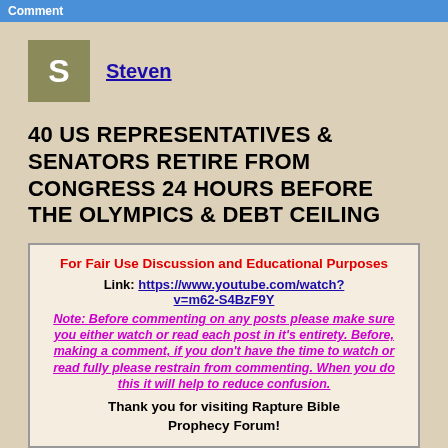Comment
S  Steven
40 US REPRESENTATIVES & SENATORS RETIRE FROM CONGRESS 24 HOURS BEFORE THE OLYMPICS & DEBT CEILING
For Fair Use Discussion and Educational Purposes
Link: https://www.youtube.com/watch?v=m62-S4BzF9Y
Note: Before commenting on any posts please make sure you either watch or read each post in it's entirety. Before, making a comment, if you don't have the time to watch or read fully please restrain from commenting. When you do this it will help to reduce confusion.

Thank you for visiting Rapture Bible Prophecy Forum!